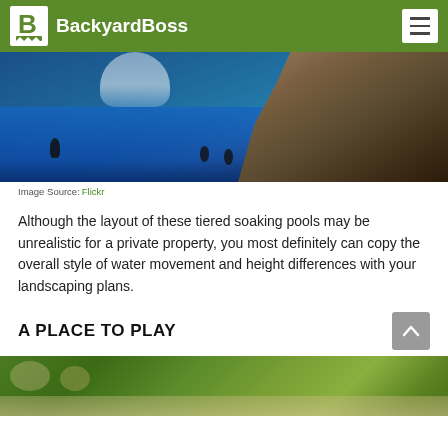BackyardBoss
[Figure (photo): Aerial view of tiered soaking pools with waterfall features, large rocks, and people swimming in blue water]
Image Source: Flickr
Although the layout of these tiered soaking pools may be unrealistic for a private property, you most definitely can copy the overall style of water movement and height differences with your landscaping plans.
A PLACE TO PLAY
[Figure (photo): Outdoor garden area with lush green trees and landscaping, partial view]